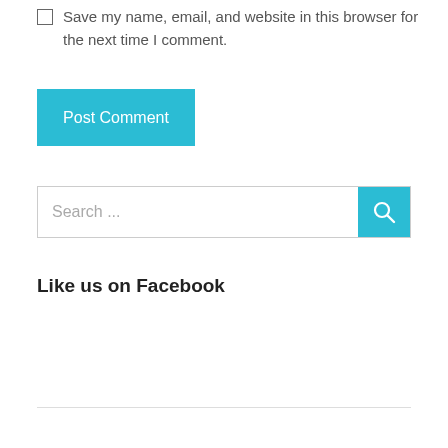Save my name, email, and website in this browser for the next time I comment.
Post Comment
Search ...
Like us on Facebook